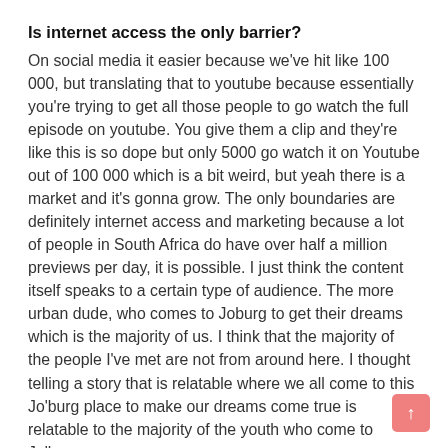Is internet access the only barrier?
On social media it easier because we've hit like 100 000, but translating that to youtube because essentially you're trying to get all those people to go watch the full episode on youtube. You give them a clip and they're like this is so dope but only 5000 go watch it on Youtube out of 100 000 which is a bit weird, but yeah there is a market and it's gonna grow. The only boundaries are definitely internet access and marketing because a lot of people in South Africa do have over half a million previews per day, it is possible. I just think the content itself speaks to a certain type of audience. The more urban dude, who comes to Joburg to get their dreams which is the majority of us. I think that the majority of the people I've met are not from around here. I thought telling a story that is relatable where we all come to this Jo'burg place to make our dreams come true is relatable to the majority of the youth who come to Jo'burg.